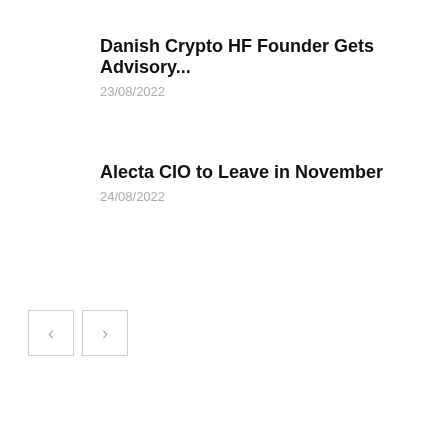Danish Crypto HF Founder Gets Advisory...
23/08/2022
Alecta CIO to Leave in November
24/08/2022